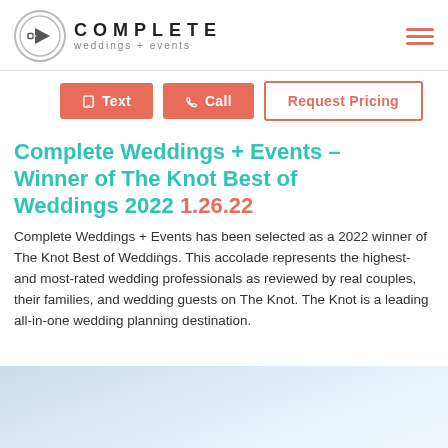Complete weddings + events
Text  Call  Request Pricing
Complete Weddings + Events – Winner of The Knot Best of Weddings 2022 1.26.22
Complete Weddings + Events has been selected as a 2022 winner of The Knot Best of Weddings. This accolade represents the highest- and most-rated wedding professionals as reviewed by real couples, their families, and wedding guests on The Knot. The Knot is a leading all-in-one wedding planning destination.
[Figure (photo): Light blue/white abstract background image, likely a photo of fabric or wedding-related material]